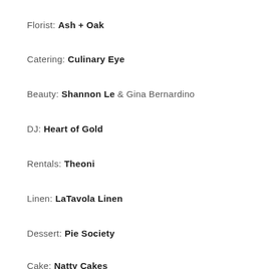Florist: Ash + Oak
Catering: Culinary Eye
Beauty: Shannon Le & Gina Bernardino
DJ: Heart of Gold
Rentals: Theoni
Linen: LaTavola Linen
Dessert: Pie Society
Cake: Natty Cakes